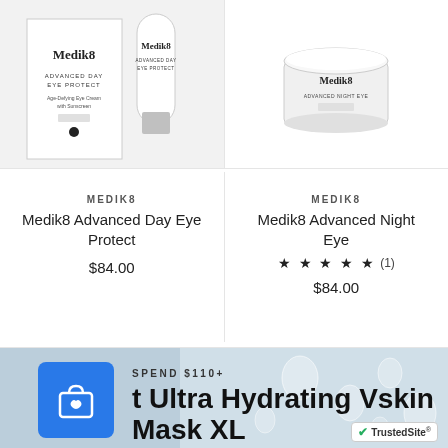[Figure (photo): Medik8 Advanced Day Eye Protect product box and tube on light grey background]
[Figure (photo): Medik8 Advanced Night Eye cream jar on white background]
MEDIK8
Medik8 Advanced Day Eye Protect
$84.00
MEDIK8
Medik8 Advanced Night Eye
★ ★ ★ ★ ★ (1)
$84.00
[Figure (photo): Banner showing shopping bag icon on blue background with water droplet background, text: SPEND $110+ and Get Ultra Hydrating Vskin Mask XL]